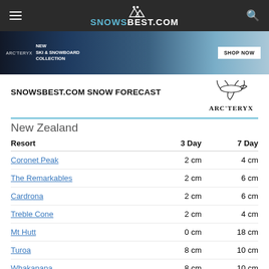SNOWSBEST.COM
[Figure (photo): Arc'teryx ski and snowboard collection advertisement banner with action skiing photo and SHOP NOW button]
SNOWSBEST.COM SNOW FORECAST
[Figure (logo): Arc'teryx logo with bird/pterodactyl graphic and ARC'TERYX text]
New Zealand
| Resort | 3 Day | 7 Day |
| --- | --- | --- |
| Coronet Peak | 2 cm | 4 cm |
| The Remarkables | 2 cm | 6 cm |
| Cardrona | 2 cm | 6 cm |
| Treble Cone | 2 cm | 4 cm |
| Mt Hutt | 0 cm | 18 cm |
| Turoa | 8 cm | 10 cm |
| Whakapapa | 8 cm | 10 cm |
Last updated - 2 hours ago